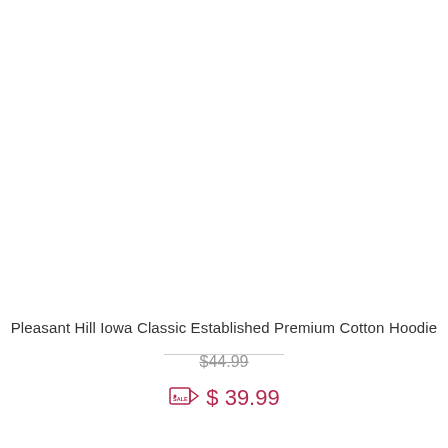[Figure (photo): Product image area for hoodie (blank/white in this rendering)]
Pleasant Hill Iowa Classic Established Premium Cotton Hoodie
$44.99 (strikethrough original price)
$ 39.99 (sale price with sale tag icon)